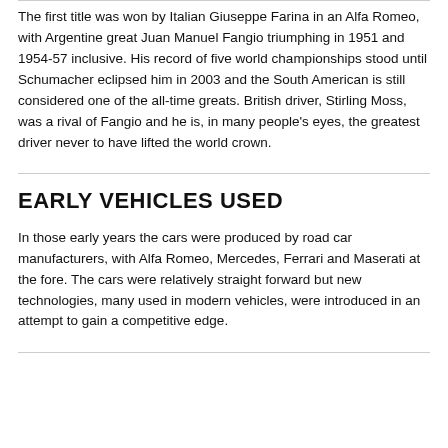The first title was won by Italian Giuseppe Farina in an Alfa Romeo, with Argentine great Juan Manuel Fangio triumphing in 1951 and 1954-57 inclusive. His record of five world championships stood until Schumacher eclipsed him in 2003 and the South American is still considered one of the all-time greats. British driver, Stirling Moss, was a rival of Fangio and he is, in many people's eyes, the greatest driver never to have lifted the world crown.
EARLY VEHICLES USED
In those early years the cars were produced by road car manufacturers, with Alfa Romeo, Mercedes, Ferrari and Maserati at the fore. The cars were relatively straight forward but new technologies, many used in modern vehicles, were introduced in an attempt to gain a competitive edge.